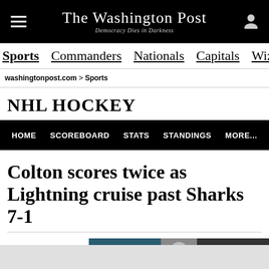The Washington Post — Democracy Dies in Darkness
Sports  Commanders  Nationals  Capitals  Wiza
washingtonpost.com > Sports
NHL HOCKEY
HOME  SCOREBOARD  STATS  STANDINGS  MORE...
Colton scores twice as Lightning cruise past Sharks 7-1
[Figure (photo): A photo related to the NHL hockey game between Lightning and Sharks, partially visible at the bottom of the page]